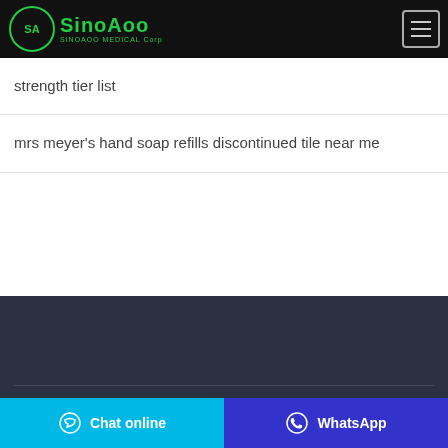SINOAOO MEDICAL Corp
strength tier list
mrs meyer's hand soap refills discontinued tile near me
Copyright ©Sinoaoo Medical Corp All rights reserved
Chat online
WhatsApp